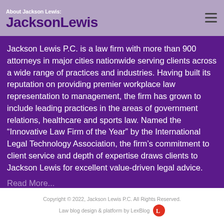About Jackson Lewis: JacksonLewis
Jackson Lewis P.C. is a law firm with more than 900 attorneys in major cities nationwide serving clients across a wide range of practices and industries. Having built its reputation on providing premier workplace law representation to management, the firm has grown to include leading practices in the areas of government relations, healthcare and sports law. Named the “Innovative Law Firm of the Year” by the International Legal Technology Association, the firm’s commitment to client service and depth of expertise draws clients to Jackson Lewis for excellent value-driven legal advice.
Read More...
Copyright © 2022, Jackson Lewis P.C. All Rights Reserved. Law blog design & platform by LexBlog